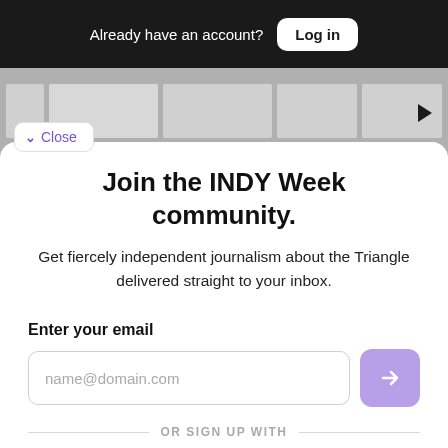Already have an account? Log in
[Figure (screenshot): Gray slideshow/carousel area with panels and a right-pointing arrow]
Close
Join the INDY Week community.
Get fiercely independent journalism about the Triangle delivered straight to your inbox.
Enter your email
name@domain.com
OR SIGN UP WITH